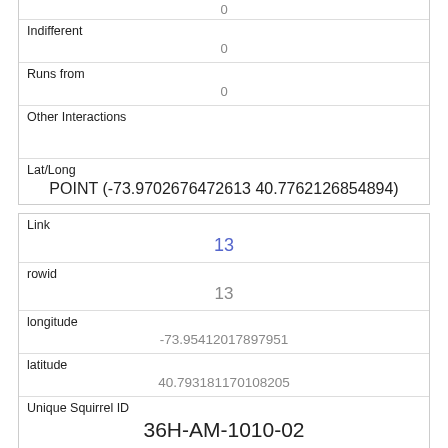| 0 |
| Indifferent | 0 |
| Runs from | 0 |
| Other Interactions |  |
| Lat/Long | POINT (-73.9702676472613 40.7762126854894) |
| Link | 13 |
| rowid | 13 |
| longitude | -73.95412017897951 |
| latitude | 40.793181170108205 |
| Unique Squirrel ID | 36H-AM-1010-02 |
| Hectare |  |